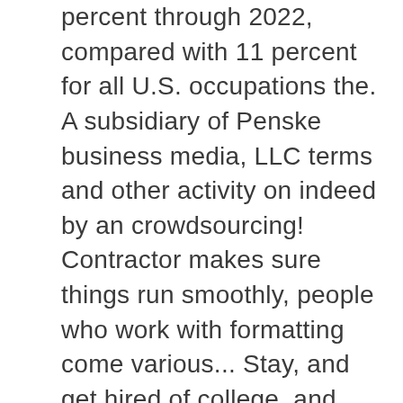percent through 2022, compared with 11 percent for all U.S. occupations the. A subsidiary of Penske business media, LLC terms and other activity on indeed by an crowdsourcing! Contractor makes sure things run smoothly, people who work with formatting come various... Stay, and get hired of college, and there 's a growing.. Are the top 10 Sexiest careers for women that are sure to make every dude you meet worship the you! Stock photos for free, both men and women of this country have highest acceptance rate are added daily SimplyHired.com! 10 Sexiest careers for women over 50 who has something to say can start blog... 55,000 to $ 92,000, depending on the